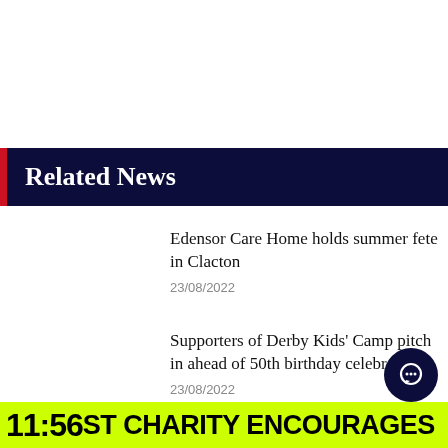Related News
Edensor Care Home holds summer fete in Clacton
23/08/2022
Supporters of Derby Kids' Camp pitch in ahead of 50th birthday celebrations
23/08/2022
11:56 ST CHARITY ENCOURAGES